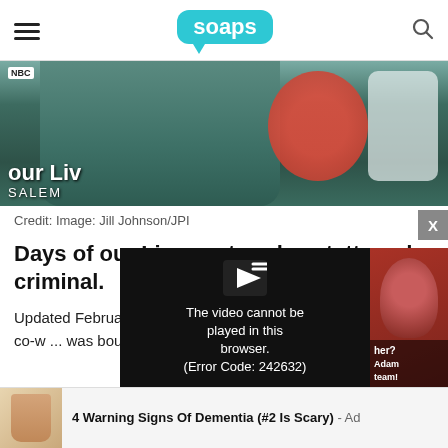soaps (logo)
[Figure (photo): Man in teal/dark green shirt standing in front of Days of our Lives SALEM signage and NBC logo. Partial text visible: 'our Liv' and 'SALEM']
Credit: Image: Jill Johnson/JPI
Days of our Lives actor plays tattooed criminal.
Updated February... actor Paul Telfer t... the movie he co-w... was bought by Lionsgate. Soaps.com has
[Figure (screenshot): Video player overlay showing error: 'The video cannot be played in this browser. (Error Code: 242632)']
[Figure (photo): Ad thumbnail showing fingers/nails close-up]
4 Warning Signs Of Dementia (#2 Is Scary) - Ad